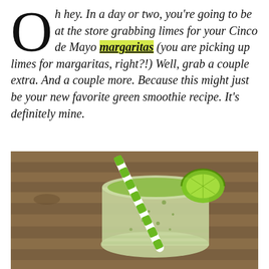Oh hey. In a day or two, you're going to be at the store grabbing limes for your Cinco de Mayo margaritas (you are picking up limes for margaritas, right?!) Well, grab a couple extra. And a couple more. Because this might just be your new favorite green smoothie recipe. It's definitely mine.
[Figure (photo): Overhead view of a green smoothie in a mason jar with a green and white striped paper straw and a lime wedge on the rim, set on a wooden surface.]